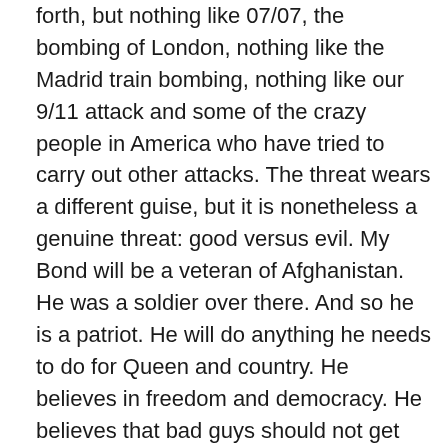forth, but nothing like 07/07, the bombing of London, nothing like the Madrid train bombing, nothing like our 9/11 attack and some of the crazy people in America who have tried to carry out other attacks. The threat wears a different guise, but it is nonetheless a genuine threat: good versus evil. My Bond will be a veteran of Afghanistan. He was a soldier over there. And so he is a patriot. He will do anything he needs to do for Queen and country. He believes in freedom and democracy. He believes that bad guys should not get away with bad things. So that was one of the easier transitions actually. He still has the same carpe diem attitude because he puts his life on the line every day. And in my book, without giving away details, there are situations where he is threatened, not only his life (I am not going to kill him off in the first third of the book), but could he sustain a tragic injury forever? I am